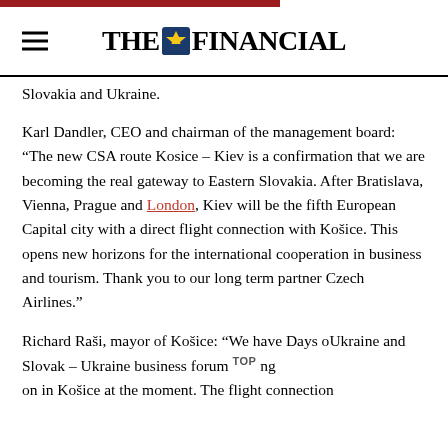THE FINANCIAL
Slovakia and Ukraine.
Karl Dandler, CEO and chairman of the management board: “The new CSA route Kosice – Kiev is a confirmation that we are becoming the real gateway to Eastern Slovakia. After Bratislava, Vienna, Prague and London, Kiev will be the fifth European Capital city with a direct flight connection with Košice. This opens new horizons for the international cooperation in business and tourism. Thank you to our long term partner Czech Airlines.”
Richard Raši, mayor of Košice: “We have Days of Ukraine and Slovak – Ukraine business forum going on in Košice at the moment. The flight connection